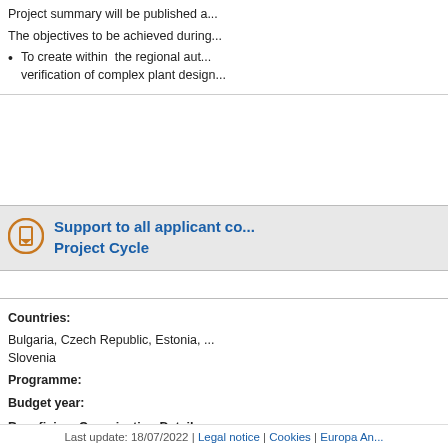Project summary will be published a...
The objectives to be achieved during...
To create within the regional aut... verification of complex plant design...
Support to all applicant co... Project Cycle
Countries:
Bulgaria, Czech Republic, Estonia, ... Slovenia
Programme:
Budget year:
Beneficiary Organisation Details
Regulatory Authorities and their Tec...
Project Aims
Last update: 18/07/2022 | Legal notice | Cookies | Europa An...